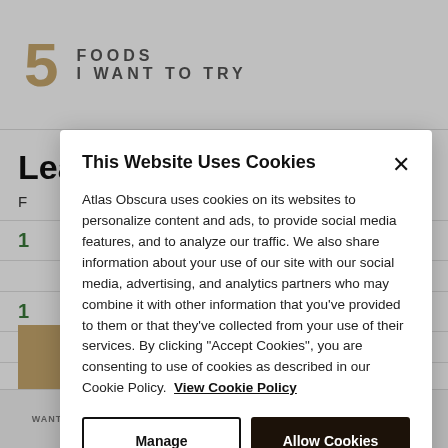5 FOODS I WANT TO TRY
Leaderboard Highlights
F
[Figure (screenshot): Cookie consent modal dialog from Atlas Obscura website overlaying the page content.]
This Website Uses Cookies
Atlas Obscura uses cookies on its websites to personalize content and ads, to provide social media features, and to analyze our traffic. We also share information about your use of our site with our social media, advertising, and analytics partners who may combine it with other information that you've provided to them or that they've collected from your use of their services. By clicking "Accept Cookies", you are consenting to use of cookies as described in our Cookie Policy. View Cookie Policy